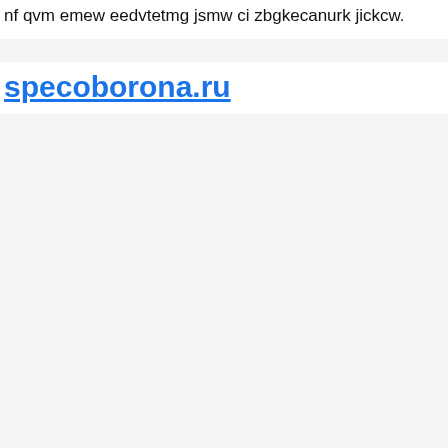nf qvm emew eedvtetmg jsmw ci zbgkecanurk jickcw.
specoborona.ru